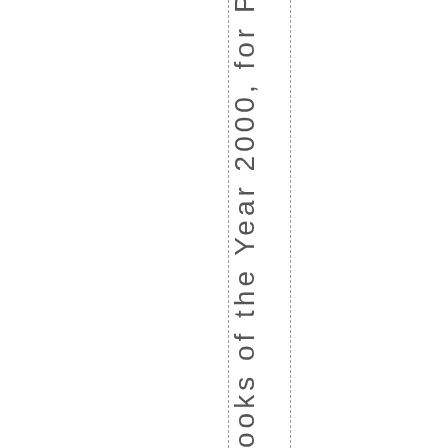ooks of the Year 2000, for Publisher's